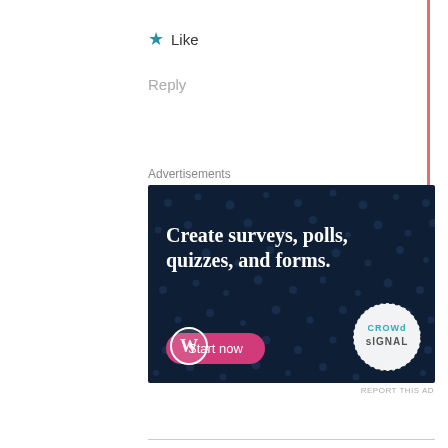★ Like
Reply
Advertisements
[Figure (illustration): Advertisement banner for CrowdSignal/WordPress: dark navy background with dot pattern, large white bold text 'Create surveys, polls, quizzes, and forms.', pink 'Start now' button, WordPress logo bottom-left, CrowdSignal circular logo bottom-right]
REPORT THIS AD